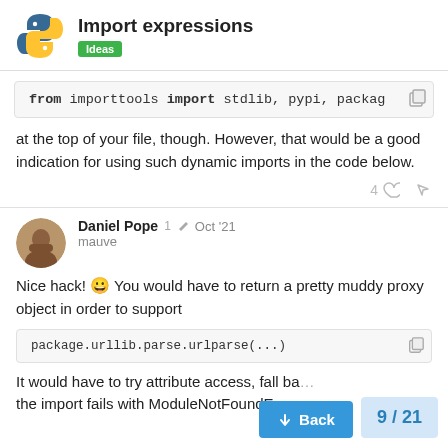Import expressions — Ideas
from importtools import stdlib, pypi, package
at the top of your file, though. However, that would be a good indication for using such dynamic imports in the code below.
Daniel Pope — mauve — 1 edit — Oct '21
Nice hack! 😀 You would have to return a pretty muddy proxy object in order to support
package.urllib.parse.urlparse(...)
It would have to try attribute access, fall back... the import fails with ModuleNotFoundError